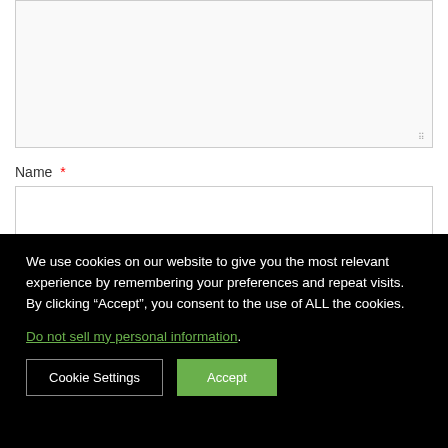[Figure (screenshot): Textarea input box (top of form), partially visible, with resize handle in bottom-right corner]
Name *
[Figure (screenshot): Name text input field, single line, white background with gray border]
Email *
We use cookies on our website to give you the most relevant experience by remembering your preferences and repeat visits. By clicking “Accept”, you consent to the use of ALL the cookies.
Do not sell my personal information.
Cookie Settings
Accept